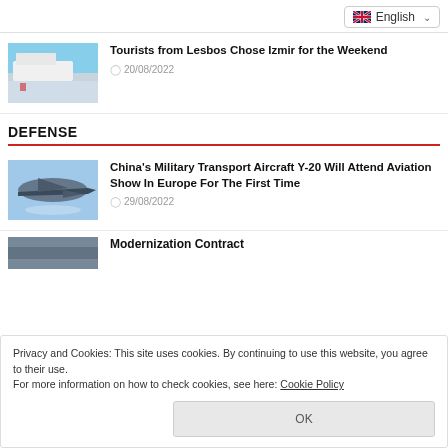English
Tourists from Lesbos Chose Izmir for the Weekend
20/08/2022
DEFENSE
China's Military Transport Aircraft Y-20 Will Attend Aviation Show In Europe For The First Time
29/08/2022
Privacy and Cookies: This site uses cookies. By continuing to use this website, you agree to their use.
For more information on how to check cookies, see here: Cookie Policy
Modernization Contract